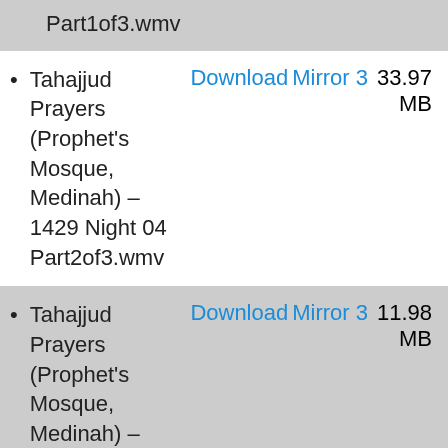Part1of3.wmv   Download   Mirror 3   33.97 MB
Tahajjud Prayers (Prophet's Mosque, Medinah) – 1429 Night 04 Part2of3.wmv   Download   Mirror 3   33.97 MB
Tahajjud Prayers (Prophet's Mosque, Medinah) – 1429 Night 04 Part3of3.wmv   Download   Mirror 3   11.98 MB
Tahajjud Prayers (Prophet's Mosque, Medinah) – 1429 Night 05 Part1of3.wmv   Download   Mirror 3   43.16 MB
Tahajjud Prayers ...